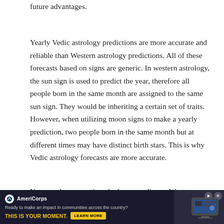future advantages.
Yearly Vedic astrology predictions are more accurate and reliable than Western astrology predictions. All of these forecasts based on signs are generic. In western astrology, the sun sign is used to predict the year, therefore all people born in the same month are assigned to the same sun sign. They would be inheriting a certain set of traits. However, when utilizing moon signs to make a yearly prediction, two people born in the same month but at different times may have distinct birth stars. This is why Vedic astrology forecasts are more accurate.
You may have questioned why, according to Western astrology, your Sun sign is Aries, but in the Vedic system, it
[Figure (other): AmeriCorps advertisement banner with dark navy background. Logo with AmeriCorps name, tagline 'Ready to make an impact in communities across the country?', bold yellow text 'THIS IS YOUR MOMENT.' with a 'LEARN MORE' button, and a photo of people at computers on the right side.]